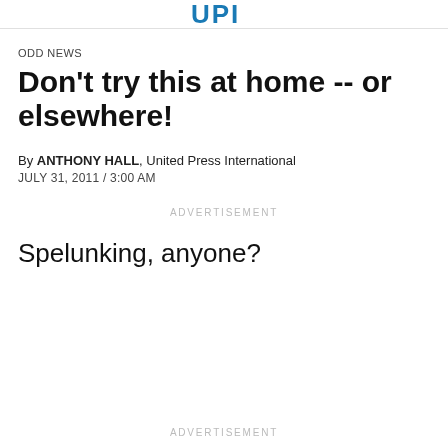UPI
ODD NEWS
Don't try this at home -- or elsewhere!
By ANTHONY HALL, United Press International
JULY 31, 2011 / 3:00 AM
ADVERTISEMENT
Spelunking, anyone?
ADVERTISEMENT